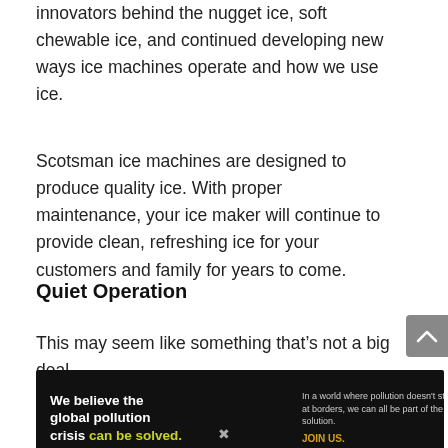innovators behind the nugget ice, soft chewable ice, and continued developing new ways ice machines operate and how we use ice.
Scotsman ice machines are designed to produce quality ice. With proper maintenance, your ice maker will continue to provide clean, refreshing ice for your customers and family for years to come.
Quiet Operation
This may seem like something that’s not a big deal,
[Figure (infographic): Pure Earth advertisement banner. Black background with text 'We believe the global pollution crisis can be solved.' with 'can be solved.' in yellow-green. Right side: 'In a world where pollution doesn’t stop at borders, we can all be part of the solution. JOIN US.' with JOIN US in gold/yellow. Pure Earth logo on far right with diamond/leaf icon in orange and green.]